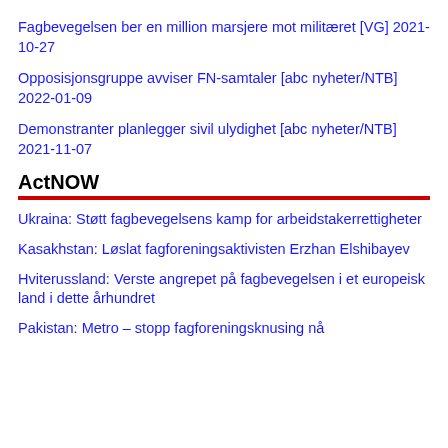Fagbevegelsen ber en million marsjere mot militæret [VG] 2021-10-27
Opposisjonsgruppe avviser FN-samtaler [abc nyheter/NTB] 2022-01-09
Demonstranter planlegger sivil ulydighet [abc nyheter/NTB] 2021-11-07
ActNOW
Ukraina: Støtt fagbevegelsens kamp for arbeidstakerrettigheter
Kasakhstan: Løslat fagforeningsaktivisten Erzhan Elshibayev
Hviterussland: Verste angrepet på fagbevegelsen i et europeisk land i dette århundret
Pakistan: Metro – stopp fagforeningsknusing nå